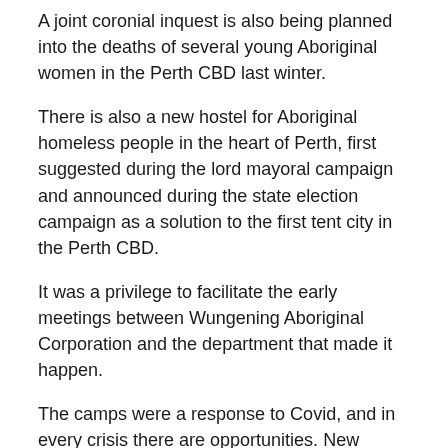A joint coronial inquest is also being planned into the deaths of several young Aboriginal women in the Perth CBD last winter.
There is also a new hostel for Aboriginal homeless people in the heart of Perth, first suggested during the lord mayoral campaign and announced during the state election campaign as a solution to the first tent city in the Perth CBD.
It was a privilege to facilitate the early meetings between Wungening Aboriginal Corporation and the department that made it happen.
The camps were a response to Covid, and in every crisis there are opportunities. New collaboration is arguably the greatest legacy of this disruption.